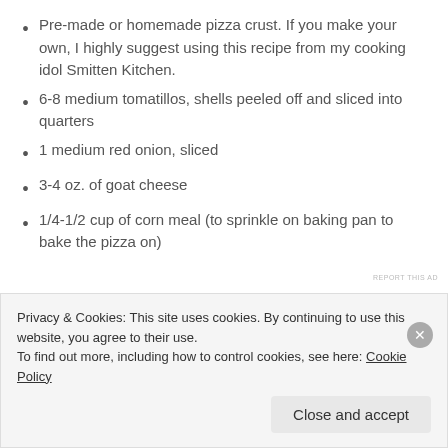Pre-made or homemade pizza crust. If you make your own, I highly suggest using this recipe from my cooking idol Smitten Kitchen.
6-8 medium tomatillos, shells peeled off and sliced into quarters
1 medium red onion, sliced
3-4 oz. of goat cheese
1/4-1/2 cup of corn meal (to sprinkle on baking pan to bake the pizza on)
REPORT THIS AD
Privacy & Cookies: This site uses cookies. By continuing to use this website, you agree to their use.
To find out more, including how to control cookies, see here: Cookie Policy
Close and accept